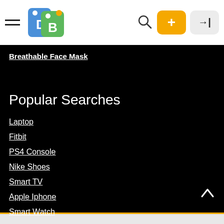DealsBuddy app header with hamburger menu, logo (DB), search icon, add button, and login button
Breathable Face Mask
Popular Searches
Laptop
Fitbit
PS4 Console
Nike Shoes
Smart TV
Apple Iphone
Smart Watch